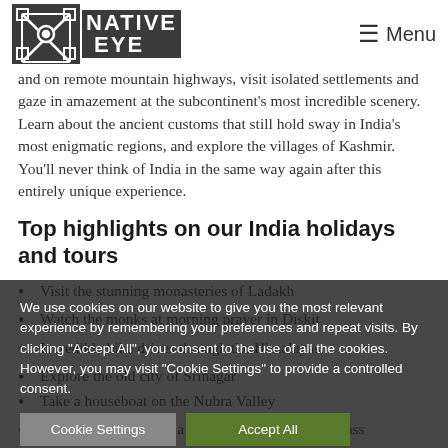Native Eye — Menu
and on remote mountain highways, visit isolated settlements and gaze in amazement at the subcontinent's most incredible scenery. Learn about the ancient customs that still hold sway in India's most enigmatic regions, and explore the villages of Kashmir. You'll never think of India in the same way again after this entirely unique experience.
Top highlights on our India holidays and tours
Visit the stunning monasteries of Ladakh
Watch the monks at morning prayer in Diskit
Incredible bike drives through the Himalayas
Explore the old city of Srinagar
Take a houseboat on the Nubra Valley
Cross the Khardung La – the highest motorable pass
We use cookies on our website to give you the most relevant experience by remembering your preferences and repeat visits. By clicking "Accept All", you consent to the use of all the cookies. However, you may visit "Cookie Settings" to provide a controlled consent.